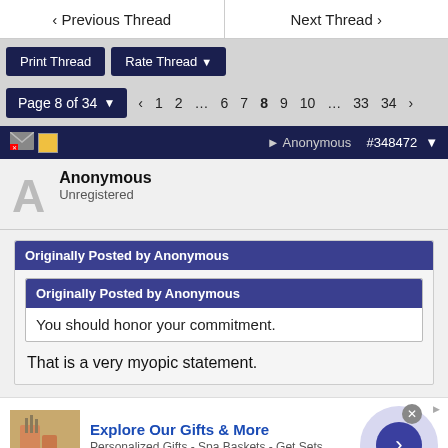‹ Previous Thread    Next Thread ›
Print Thread  Rate Thread ▾
Page 8 of 34 ▾  ‹ 1 2 … 6 7 8 9 10 … 33 34 ›
Anonymous  #348472 ▾
Anonymous
Unregistered
Originally Posted by Anonymous
Originally Posted by Anonymous
You should honor your commitment.
That is a very myopic statement.
[Figure (infographic): Advertisement banner: Explore Our Gifts & More — Personalized Gifts - Spa Baskets - Get Sets. www.1800flowers.com]